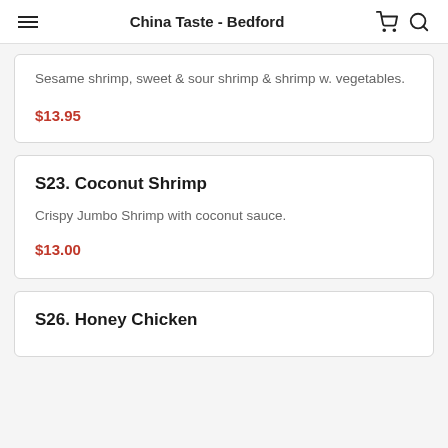China Taste - Bedford
Sesame shrimp, sweet & sour shrimp & shrimp w. vegetables.
$13.95
S23. Coconut Shrimp
Crispy Jumbo Shrimp with coconut sauce.
$13.00
S26. Honey Chicken